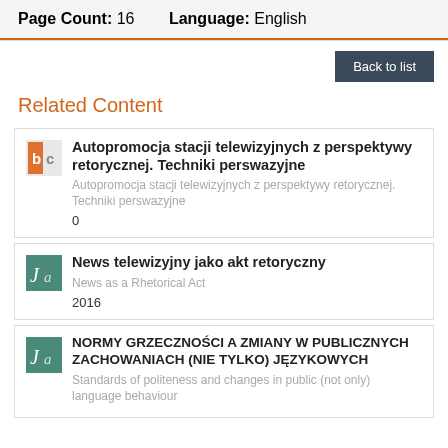Page Count: 16    Language: English
Related Content
Autopromocja stacji telewizyjnych z perspektywy retorycznej. Techniki perswazyjne
Autopromocja stacji telewizyjnych z perspektywy retorycznej. Techniki perswazyjne
0
News telewizyjny jako akt retoryczny
News as a Rhetorical Act
2016
NORMY GRZECZNOŚCI A ZMIANY W PUBLICZNYCH ZACHOWANIACH (NIE TYLKO) JĘZYKOWYCH
Standards of politeness and changes in public (not only) language behaviour